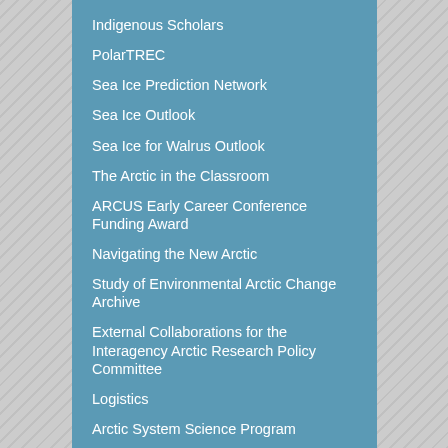Indigenous Scholars
PolarTREC
Sea Ice Prediction Network
Sea Ice Outlook
Sea Ice for Walrus Outlook
The Arctic in the Classroom
ARCUS Early Career Conference Funding Award
Navigating the New Arctic
Study of Environmental Arctic Change Archive
External Collaborations for the Interagency Arctic Research Policy Committee
Logistics
Arctic System Science Program
Bering Ecosystem Science
Joint Science Education Project (JSEP)